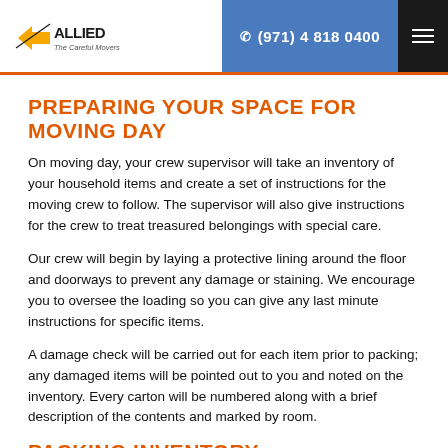Allied The Careful Movers | (971) 4 818 0400
PREPARING YOUR SPACE FOR MOVING DAY
On moving day, your crew supervisor will take an inventory of your household items and create a set of instructions for the moving crew to follow. The supervisor will also give instructions for the crew to treat treasured belongings with special care.
Our crew will begin by laying a protective lining around the floor and doorways to prevent any damage or staining. We encourage you to oversee the loading so you can give any last minute instructions for specific items.
A damage check will be carried out for each item prior to packing; any damaged items will be pointed out to you and noted on the inventory. Every carton will be numbered along with a brief description of the contents and marked by room.
PACKING INVENTORY
As our crew wraps up the labeled and sealed boxes, you'll be given an